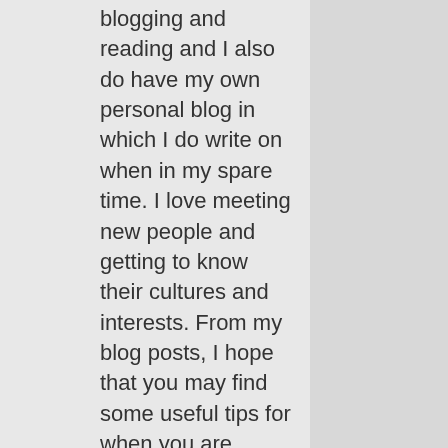blogging and reading and I also do have my own personal blog in which I do write on when in my spare time. I love meeting new people and getting to know their cultures and interests. From my blog posts, I hope that you may find some useful tips for when you are thinking of pursuing studies overseas in Queen's University. Especially when you're an international student. It's always great craic to be able to experience life studying overseas, and now you get to know more through an international student's perspective! Do stay tuned for more blog posts.